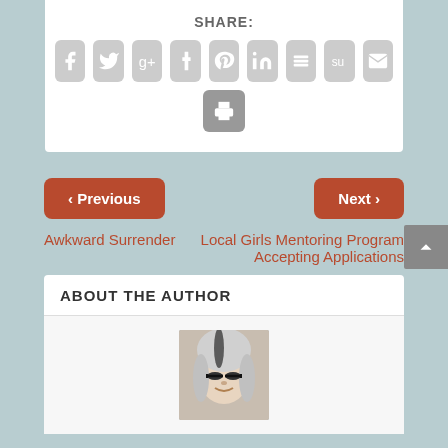SHARE:
[Figure (infographic): Row of social share icon buttons: Facebook, Twitter, Google+, Tumblr, Pinterest, LinkedIn, Buffer, StumbleUpon, Email, Print]
< Previous
Next >
Awkward Surrender
Local Girls Mentoring Program Accepting Applications
ABOUT THE AUTHOR
[Figure (photo): Portrait photo of a woman with long gray and white hair and glasses, smiling]